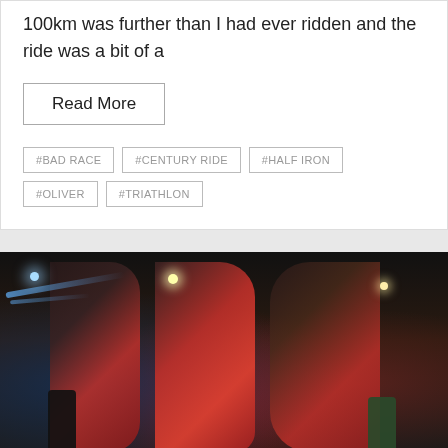100km was further than I had ever ridden and the ride was a bit of a
Read More
#BAD RACE
#CENTURY RIDE
#HALF IRON
#OLIVER
#TRIATHLON
[Figure (photo): Nighttime photo of large illuminated 3D letters (appearing to spell out letters like B, R, C) with red and dark metallic tones. Two people stand in front of the letters. City lights and buildings visible in background.]